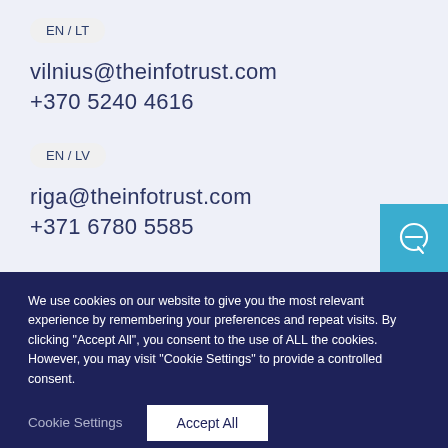EN / LT
vilnius@theinfotrust.com
+370 5240 4616
EN / LV
riga@theinfotrust.com
+371 6780 5585
[Figure (illustration): Blue chat button with speech bubble icon in bottom-right corner]
We use cookies on our website to give you the most relevant experience by remembering your preferences and repeat visits. By clicking “Accept All”, you consent to the use of ALL the cookies. However, you may visit "Cookie Settings" to provide a controlled consent.
Cookie Settings
Accept All